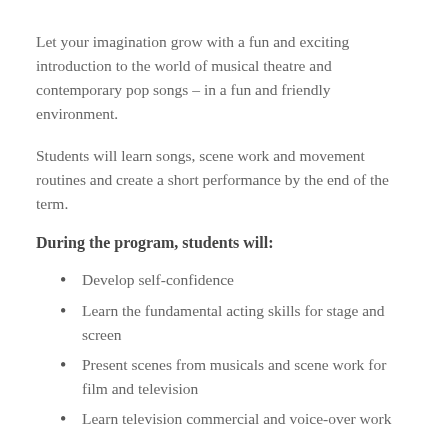Let your imagination grow with a fun and exciting introduction to the world of musical theatre and contemporary pop songs – in a fun and friendly environment.
Students will learn songs, scene work and movement routines and create a short performance by the end of the term.
During the program, students will:
Develop self-confidence
Learn the fundamental acting skills for stage and screen
Present scenes from musicals and scene work for film and television
Learn television commercial and voice-over work